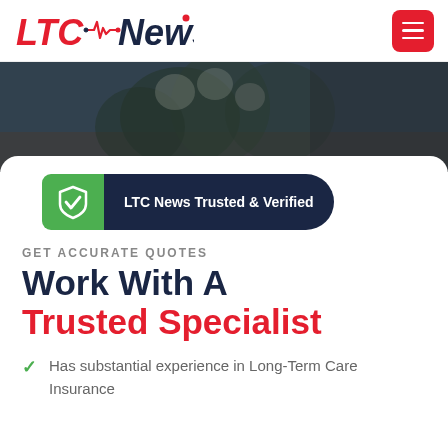LTC News
[Figure (screenshot): Hero background image showing a dark, muted photograph of plants/flowers on a wooden surface]
[Figure (logo): LTC News Trusted & Verified badge with green shield icon and dark navy pill label]
GET ACCURATE QUOTES
Work With A Trusted Specialist
Has substantial experience in Long-Term Care Insurance